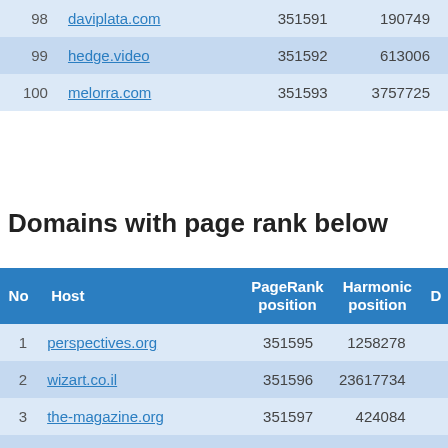| No | Host | PageRank position | Harmonic position | D |
| --- | --- | --- | --- | --- |
| 98 | daviplata.com | 351591 | 190749 |  |
| 99 | hedge.video | 351592 | 613006 |  |
| 100 | melorra.com | 351593 | 3757725 |  |
Domains with page rank below
| No | Host | PageRank position | Harmonic position | D |
| --- | --- | --- | --- | --- |
| 1 | perspectives.org | 351595 | 1258278 |  |
| 2 | wizart.co.il | 351596 | 23617734 |  |
| 3 | the-magazine.org | 351597 | 424084 |  |
| 4 | diamondpet.com | 351598 | 622430 |  |
| 5 | americanenergyalliance.org | 351599 | 834382 |  |
| 6 | kiito.jp | 351600 | 360656 |  |
| 7 | sinadaxue.cn | 351601 | 13965145 |  |
| 8 | lyxoretf.co.uk | 351602 | 5773296 |  |